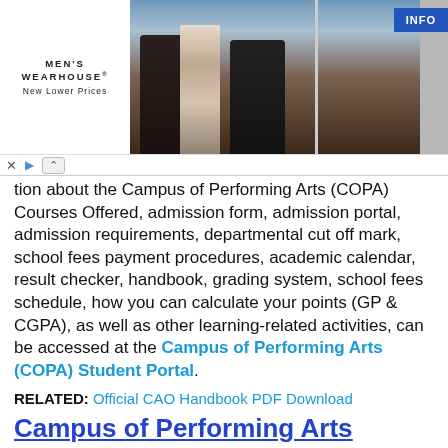[Figure (photo): Men's Wearhouse advertisement banner showing a couple in formal wear and a man in a suit, with INFO button]
tion about the Campus of Performing Arts (COPA) Courses Offered, admission form, admission portal, admission requirements, departmental cut off mark, school fees payment procedures, academic calendar, result checker, handbook, grading system, school fees schedule, how you can calculate your points (GP & CGPA), as well as other learning-related activities, can be accessed at the Campus of Performing Arts (COPA) Student Portal.
RELATED: Official CAO Handbook PDF Download
Campus of Performing Arts (COPA) Student Online Resource.
The Campus of Performing Arts (COPA) courses outline | handbook |